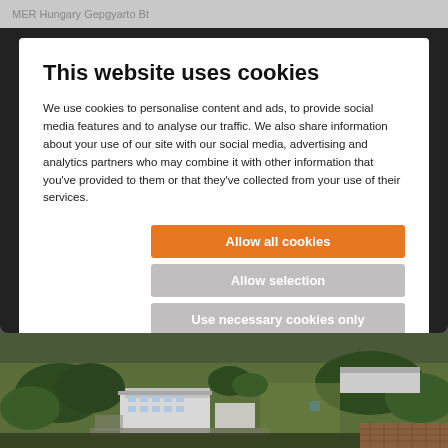MER Hungary Gepgyarto Bt
This website uses cookies
We use cookies to personalise content and ads, to provide social media features and to analyse our traffic. We also share information about your use of our site with our social media, advertising and analytics partners who may combine it with other information that you've provided to them or that they've collected from your use of their services.
Allow all cookies
Allow selection
Use necessary cookies only
Necessary  Preferences  Statistics  Marketing  Show details
[Figure (photo): Aerial photograph of an industrial or commercial building complex surrounded by trees and green fields, viewed from above at an angle.]